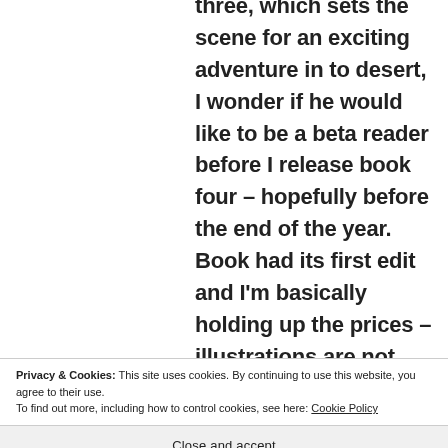three, which sets the scene for an exciting adventure in to desert, I wonder if he would like to be a beta reader before I release book four – hopefully before the end of the year. Book had its first edit and I'm basically holding up the prices – illustrations are not done😯 Please let me know. I would like to hear his opinion. Thank you so much, Yvette.
Privacy & Cookies: This site uses cookies. By continuing to use this website, you agree to their use.
To find out more, including how to control cookies, see here: Cookie Policy
Close and accept